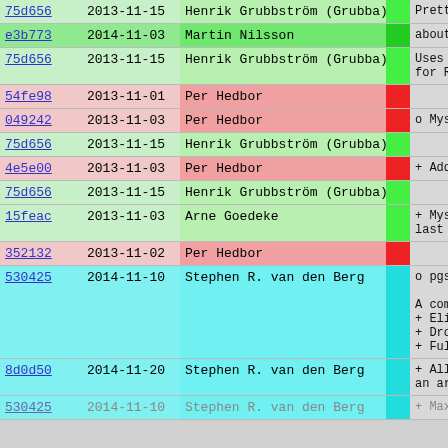| Hash | Date | Author | Bar | Message |
| --- | --- | --- | --- | --- |
| 75d656 | 2013-11-15 | Henrik Grubbström (Grubba) |  | Pretty-pr |
| e3b773 | 2014-11-03 | Martin Nilsson |  | about obje |
| 75d656 | 2013-11-15 | Henrik Grubbström (Grubba) |  | Uses the r
for RAM-us |
| 54fe98 | 2013-11-01 | Per Hedbor |  |  |
| 049242 | 2013-11-03 | Per Hedbor |  | o Mysql |
| 75d656 | 2013-11-15 | Henrik Grubbström (Grubba) |  |  |
| 4e5e00 | 2013-11-03 | Per Hedbor |  | + Added su |
| 75d656 | 2013-11-15 | Henrik Grubbström (Grubba) |  |  |
| 15feac | 2013-11-03 | Arne Goedeke |  | + Mysql.my
last err |
| 352132 | 2013-11-02 | Per Hedbor |  |  |
| 530425 | 2014-11-10 | Stephen R. van den Berg |  | o pgsql

A complete
+ Eliminat
+ Drops th
+ Fully th |
| 8d0d50 | 2014-11-20 | Stephen R. van den Berg |  | + Allows f
an arbit |
| 530425 | 2014-11-10 | Stephen R. van den Berg |  | + Maximum |